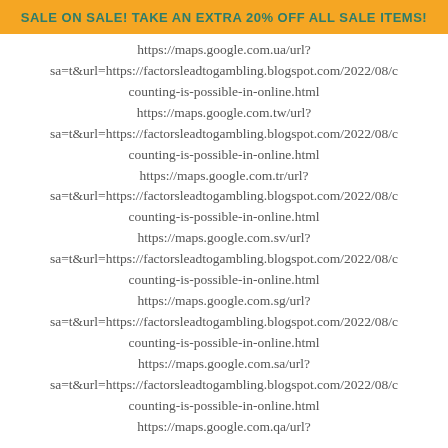SALE ON SALE! TAKE AN EXTRA 20% OFF ALL SALE ITEMS!
https://maps.google.com.ua/url?
sa=t&url=https://factorsleadtogambling.blogspot.com/2022/08/counting-is-possible-in-online.html
https://maps.google.com.tw/url?
sa=t&url=https://factorsleadtogambling.blogspot.com/2022/08/counting-is-possible-in-online.html
https://maps.google.com.tr/url?
sa=t&url=https://factorsleadtogambling.blogspot.com/2022/08/counting-is-possible-in-online.html
https://maps.google.com.sv/url?
sa=t&url=https://factorsleadtogambling.blogspot.com/2022/08/counting-is-possible-in-online.html
https://maps.google.com.sg/url?
sa=t&url=https://factorsleadtogambling.blogspot.com/2022/08/counting-is-possible-in-online.html
https://maps.google.com.sa/url?
sa=t&url=https://factorsleadtogambling.blogspot.com/2022/08/counting-is-possible-in-online.html
https://maps.google.com.qa/url?